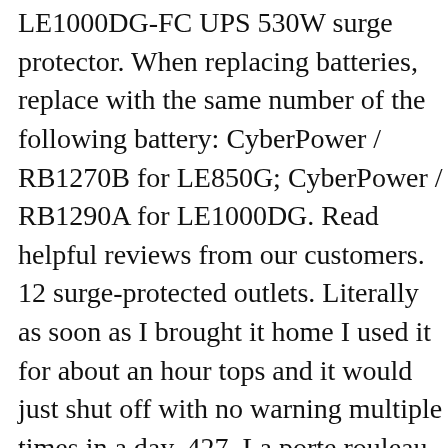LE1000DG-FC UPS 530W surge protector. When replacing batteries, replace with the same number of the following battery: CyberPower / RB1270B for LE850G; CyberPower / RB1290A for LE1000DG. Read helpful reviews from our customers. 12 surge-protected outlets. Literally as soon as I brought it home I used it for about an hour tops and it would just shut off with no warning multiple times in a day. 427. La porte rouleau. Read honest and unbiased product reviews from our users. Share on Twitter . 95 $86.67 $86.67. Important information. Ever since I got this computer it has always had some sort of problem with it. View online Operation & userâüüs manual for CyberPower LE1000DG UPS or simply click Download button to examine the CyberPower LE1000DG guidelines offline on your desktop or laptop computer. AmazonBasics Line-